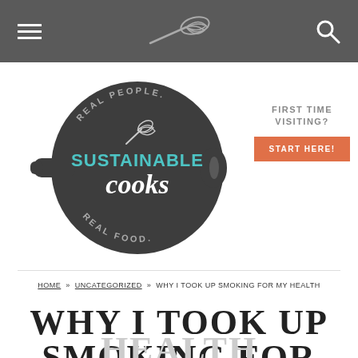Navigation bar with hamburger menu, whisk logo, and search icon
[Figure (logo): Sustainable Cooks logo: dark circular cast iron skillet with whisk, text REAL PEOPLE. REAL FOOD. around circle, SUSTAINABLE in teal, cooks in white script]
FIRST TIME VISITING?
START HERE!
HOME » UNCATEGORIZED » WHY I TOOK UP SMOKING FOR MY HEALTH
WHY I TOOK UP SMOKING FOR MY HEALTH